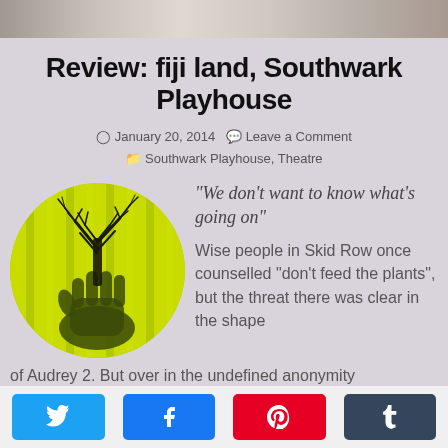[Figure (photo): Top strip photo of people with plants, partially cropped]
Review: fiji land, Southwark Playhouse
January 20, 2014   Leave a Comment   Southwark Playhouse, Theatre
[Figure (illustration): Circular illustration of a hand with a dead tree growing from it on a yellow-green background]
“We don’t want to know what’s going on”
Wise people in Skid Row once counselled “don’t feed the plants”, but the threat there was clear in the shape of Audrey 2. But over in the undefined anonymity
[Figure (other): Social share buttons: Twitter, Facebook, Pinterest, Tumblr]